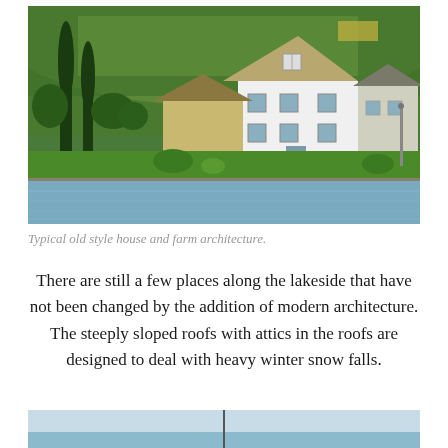[Figure (photo): Lakeside view of a large white traditional Swiss farmhouse with steeply sloped roof, surrounded by tall cypress and other trees, with green vineyard hills in the background and calm blue lake water in the foreground.]
Typical old style house and farm architecture.
There are still a few places along the lakeside that have not been changed by the addition of modern architecture. The steeply sloped roofs with attics in the roofs are designed to deal with heavy winter snow falls.
[Figure (photo): Partial view of a lakeside scene with blue sky and water, with a tall thin structure (possibly a sailboat mast or spire) visible.]